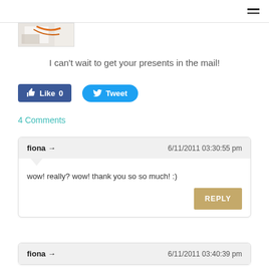[Figure (photo): Partial image of wrapped presents/gifts with orange ribbon visible in top-left area]
I can't wait to get your presents in the mail!
[Figure (other): Facebook Like button showing 'Like 0' and Twitter Tweet button]
4 Comments
fiona → 6/11/2011 03:30:55 pm
wow! really? wow! thank you so so much! :)
REPLY
fiona → 6/11/2011 03:40:39 pm